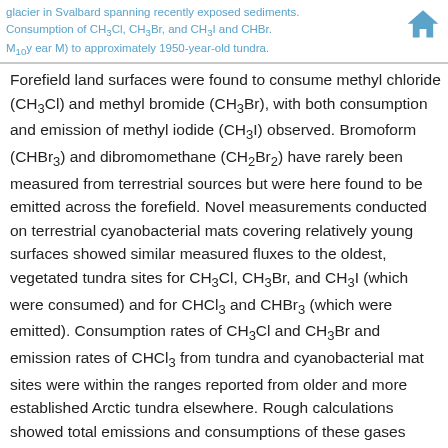glacier in Svalbard spanning recently exposed sediments. Consumption of CH3Cl, CH3Br, and CH3I and CHBr. M10 y ear M) to approximately 1950-year-old tundra. Moya L. Macdonald et al.
Forefield land surfaces were found to consume methyl chloride (CH3Cl) and methyl bromide (CH3Br), with both consumption and emission of methyl iodide (CH3I) observed. Bromoform (CHBr3) and dibromomethane (CH2Br2) have rarely been measured from terrestrial sources but were here found to be emitted across the forefield. Novel measurements conducted on terrestrial cyanobacterial mats covering relatively young surfaces showed similar measured fluxes to the oldest, vegetated tundra sites for CH3Cl, CH3Br, and CH3I (which were consumed) and for CHCl3 and CHBr3 (which were emitted). Consumption rates of CH3Cl and CH3Br and emission rates of CHCl3 from tundra and cyanobacterial mat sites were within the ranges reported from older and more established Arctic tundra elsewhere. Rough calculations showed total emissions and consumptions of these gases across the Arctic were small